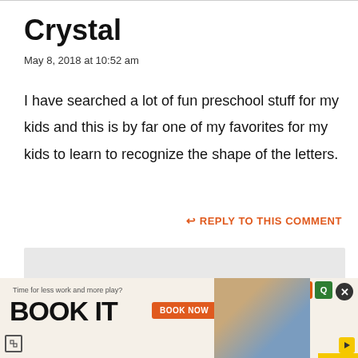Crystal
May 8, 2018 at 10:52 am
I have searched a lot of fun preschool stuff for my kids and this is by far one of my favorites for my kids to learn to recognize the shape of the letters.
↩ REPLY TO THIS COMMENT
[Figure (screenshot): Advertisement banner: 'Time for less work and more play? BOOK IT' with BOOK NOW button, photo of person, and logos]